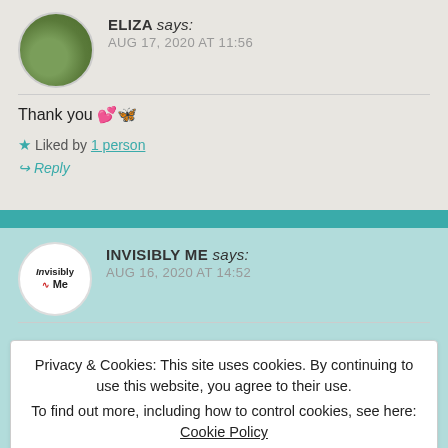ELIZA says: AUG 17, 2020 AT 11:56
Thank you 💕🦋
★ Liked by 1 person
↪ Reply
INVISIBLY ME says: AUG 16, 2020 AT 14:52
Privacy & Cookies: This site uses cookies. By continuing to use this website, you agree to their use. To find out more, including how to control cookies, see here: Cookie Policy
Close and accept
over the years. Choosing life is huge, and I hope you realise